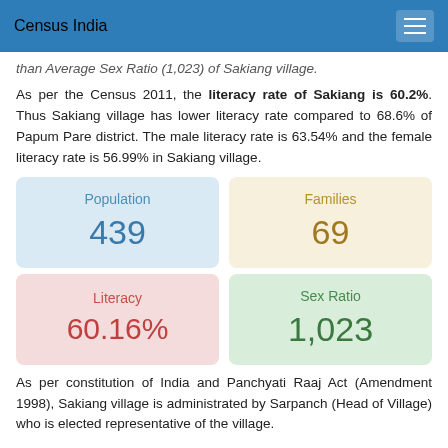Census India
than Average Sex Ratio (1,023) of Sakiang village.
As per the Census 2011, the literacy rate of Sakiang is 60.2%. Thus Sakiang village has lower literacy rate compared to 68.6% of Papum Pare district. The male literacy rate is 63.54% and the female literacy rate is 56.99% in Sakiang village.
| Metric | Value |
| --- | --- |
| Population | 439 |
| Families | 69 |
| Literacy | 60.16% |
| Sex Ratio | 1,023 |
As per constitution of India and Panchyati Raaj Act (Amendment 1998), Sakiang village is administrated by Sarpanch (Head of Village) who is elected representative of the village.